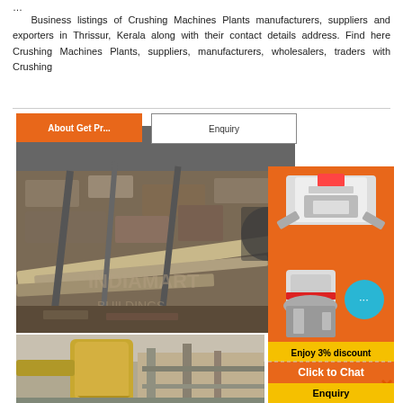…
Business listings of Crushing Machines Plants manufacturers, suppliers and exporters in Thrissur, Kerala along with their contact details address. Find here Crushing Machines Plants, suppliers, manufacturers, wholesalers, traders with Crushing
[Figure (photo): Industrial crushing machine plant facility with conveyor belts and heavy equipment outdoors]
[Figure (photo): Advertisement banner showing crushing machine equipment with 'Enjoy 3% discount', 'Click to Chat' and 'Enquiry' buttons, with a chat bubble icon]
[Figure (photo): Indoor industrial dust collection or processing equipment in yellow/beige color]